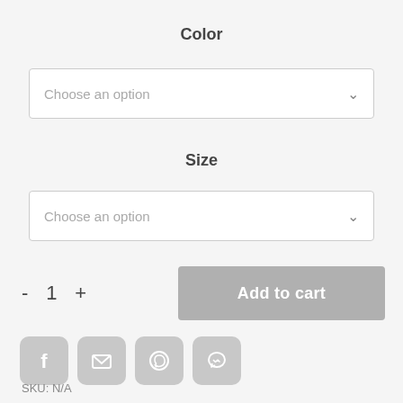Color
Choose an option
Size
Choose an option
- 1 + Add to cart
[Figure (infographic): Social share icons: Facebook, Email, WhatsApp, Messenger]
SKU: N/A